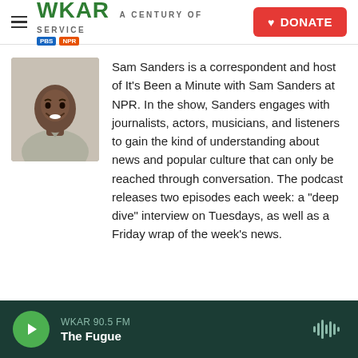WKAR A CENTURY OF SERVICE | DONATE
[Figure (photo): Profile photo of Sam Sanders, a Black man smiling, wearing a light gray v-neck sweater, photographed against a light background]
Sam Sanders is a correspondent and host of It's Been a Minute with Sam Sanders at NPR. In the show, Sanders engages with journalists, actors, musicians, and listeners to gain the kind of understanding about news and popular culture that can only be reached through conversation. The podcast releases two episodes each week: a "deep dive" interview on Tuesdays, as well as a Friday wrap of the week's news.
WKAR 90.5 FM | The Fugue